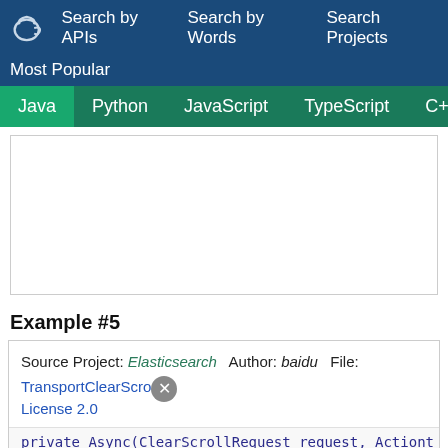Search by APIs  Search by Words  Search Projects  Most Popular
Java  Python  JavaScript  TypeScript  C++  Scala
Example #5
Source Project: Elasticsearch  Author: baidu  File: TransportClearScro...  License 2.0
private Async(ClearScrollRequest request, Actiont...